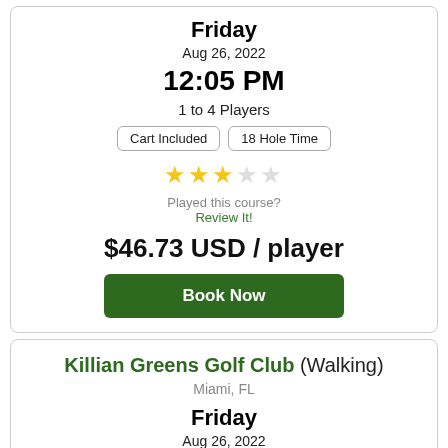Friday
Aug 26, 2022
12:05 PM
1 to 4 Players
Cart Included | 18 Hole Time
[Figure (other): 3 out of 5 stars rating]
Played this course? Review It!
$46.73 USD / player
Book Now
Killian Greens Golf Club (Walking)
Miami, FL
Friday
Aug 26, 2022